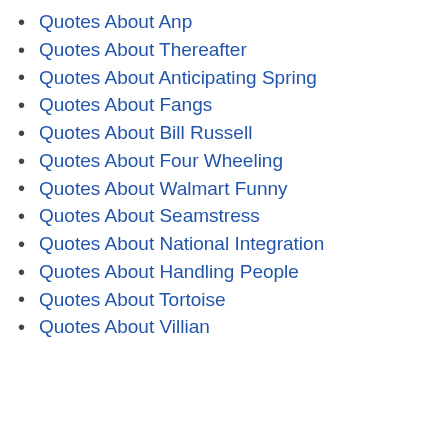Quotes About Anp
Quotes About Thereafter
Quotes About Anticipating Spring
Quotes About Fangs
Quotes About Bill Russell
Quotes About Four Wheeling
Quotes About Walmart Funny
Quotes About Seamstress
Quotes About National Integration
Quotes About Handling People
Quotes About Tortoise
Quotes About Villian